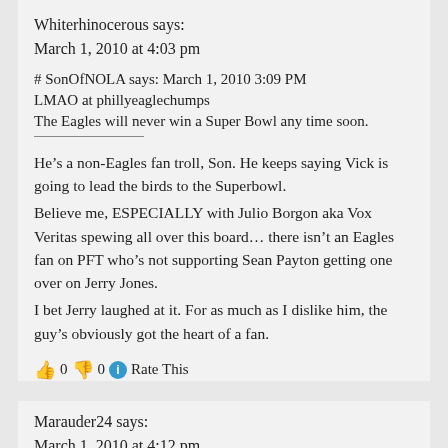Whiterhinocerous says:
March 1, 2010 at 4:03 pm
# SonOfNOLA says: March 1, 2010 3:09 PM
LMAO at phillyeaglechumps
The Eagles will never win a Super Bowl any time soon.
He’s a non-Eagles fan troll, Son. He keeps saying Vick is going to lead the birds to the Superbowl.
Believe me, ESPECIALLY with Julio Borgon aka Vox Veritas spewing all over this board… there isn’t an Eagles fan on PFT who’s not supporting Sean Payton getting one over on Jerry Jones.
I bet Jerry laughed at it. For as much as I dislike him, the guy’s obviously got the heart of a fan.
👍 0 👎 0 ℹ Rate This
Marauder24 says:
March 1, 2010 at 4:12 pm